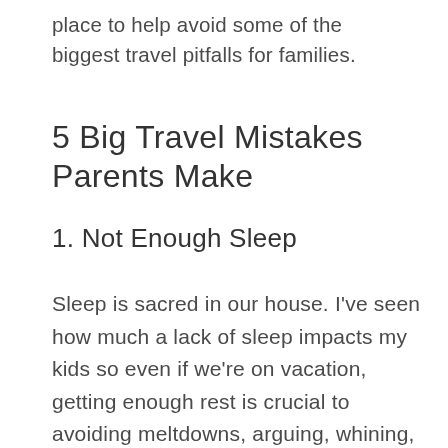place to help avoid some of the biggest travel pitfalls for families.
5 Big Travel Mistakes Parents Make
1. Not Enough Sleep
Sleep is sacred in our house. I've seen how much a lack of sleep impacts my kids so even if we're on vacation, getting enough rest is crucial to avoiding meltdowns, arguing, whining, and even sickness. Yes, we do relax our schedule and flex bedtime a bit on vacation, but